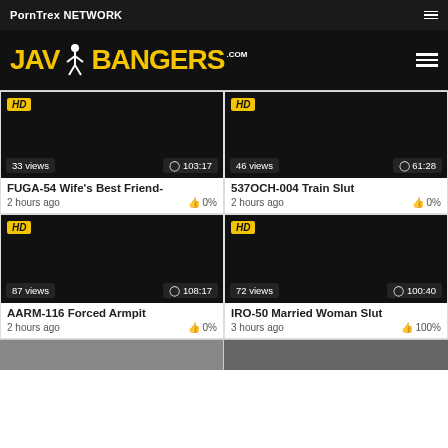PornTrex NETWORK
[Figure (logo): JAV Bangers .com logo in yellow bold font with a stick figure icon, on black background]
[Figure (screenshot): Video thumbnail card: FUGA-54 Wife's Best Friend-, 33 views, 103:17 duration, 2 hours ago, 0% likes, HD badge]
[Figure (screenshot): Video thumbnail card: 537OCH-004 Train Slut, 46 views, 61:28 duration, 2 hours ago, 0% likes, HD badge]
[Figure (screenshot): Video thumbnail card: AARM-116 Forced Armpit, 87 views, 108:17 duration, 2 hours ago, 0% likes, HD badge]
[Figure (screenshot): Video thumbnail card: IRO-50 Married Woman Slut, 72 views, 100:40 duration, 3 hours ago, 100% likes, HD badge]